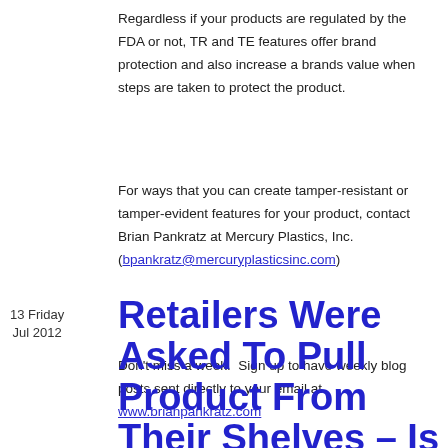Regardless if your products are regulated by the FDA or not, TR and TE features offer brand protection and also increase a brands value when steps are taken to protect the product.
For ways that you can create tamper-resistant or tamper-evident features for your product, contact Brian Pankratz at Mercury Plastics, Inc. (bpankratz@mercuryplasticsinc.com)
Don’t miss a week.  Sign up to have weekly blog posts sent directly to your email at www.brianpankratz.com
13 Friday Jul 2012
Retailers Were Asked To Pull Product From Their Shelves – Is Yours